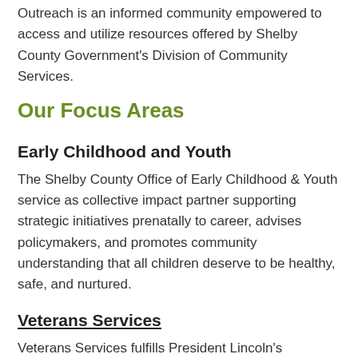Outreach is an informed community empowered to access and utilize resources offered by Shelby County Government's Division of Community Services.
Our Focus Areas
Early Childhood and Youth
The Shelby County Office of Early Childhood & Youth service as collective impact partner supporting strategic initiatives prenatally to career, advises policymakers, and promotes community understanding that all children deserve to be healthy, safe, and nurtured.
Veterans Services
Veterans Services fulfills President Lincoln's commitment to ensure veterans and their families receive needed assistance. The staff assists veterans and their families with:
Burial benefits